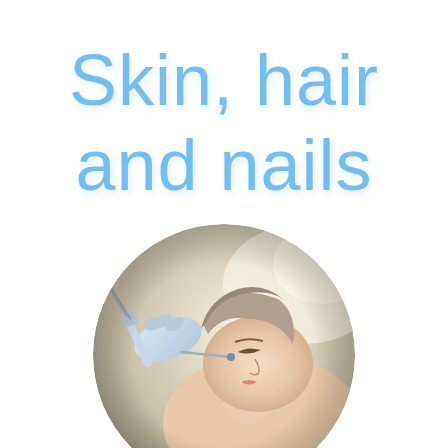Skin, hair and nails
[Figure (photo): Circular cropped photo of a patient receiving a facial skin treatment, lying down with eyes closed while a gloved practitioner applies a device near the face. Light clinical background.]